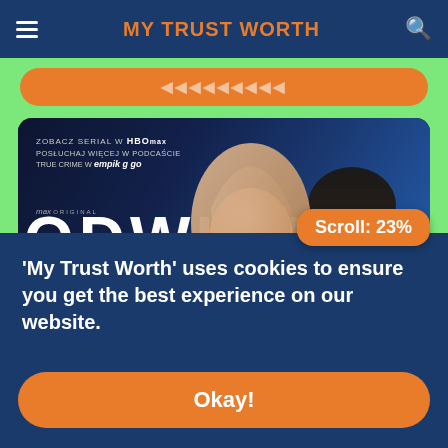MY TRUST WORTH
[Figure (photo): Movie promotional poster for 'Odwilż' (Thaw), a Max Original Polish series. Shows two actors - Justyna Mazur (blonde woman) and Marcin Myszka (dark-haired man) in dark clothing against a dark blue background. Text reads: 'ZOBACZ SERIAL W HBOMAX', 'POSŁUCHAJ WIĘCEJ W PODCAŚCIE TRUE CRIME W empik go', 'max ORIGINAL', 'ODWILŻ', 'JUSTYNA MAZUR', 'MARCIN MYSZKA'.]
Scroll: 23%
'My Trust Worth' uses cookies to ensure you get the best experience on our website.
Okay!